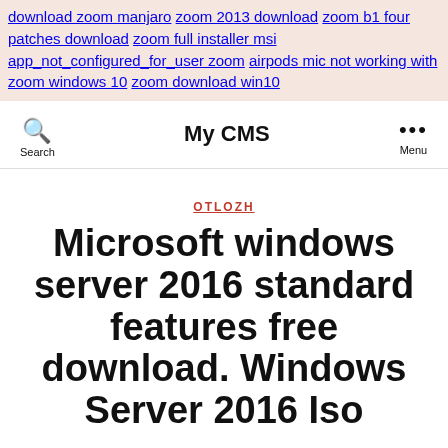download zoom manjaro zoom 2013 download zoom b1 four patches download zoom full installer msi app_not_configured_for_user zoom airpods mic not working with zoom windows 10 zoom download win10
My CMS — Search / Menu
OTLOZH
Microsoft windows server 2016 standard features free download. Windows Server 2016 Iso